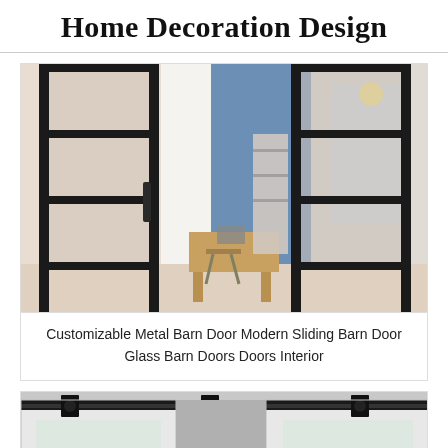Home Decoration Design
[Figure (photo): Interior room photo showing black metal-framed glass barn doors with grid panel design, open to reveal a wooden desk, chair, and shelving unit in a room with blue accent wall and natural light from windows]
Customizable Metal Barn Door Modern Sliding Barn Door Glass Barn Doors Doors Interior
[Figure (photo): Close-up photo of a white barn door with frosted glass panels and a black sliding barn door hardware track system mounted above]